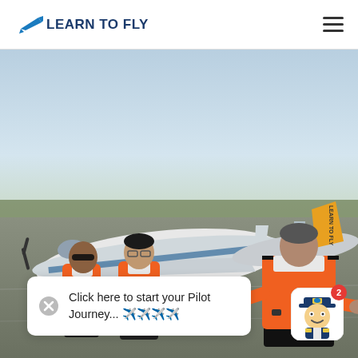LEARN TO FLY
[Figure (photo): Three people in orange high-visibility vests standing on an airport tarmac next to small training aircraft. One instructor gestures with open hands toward two students. A yellow-tailed aircraft with 'LEARN TO FLY' branding is visible in the background.]
Click here to start your Pilot Journey... ✈️✈️✈️✈️